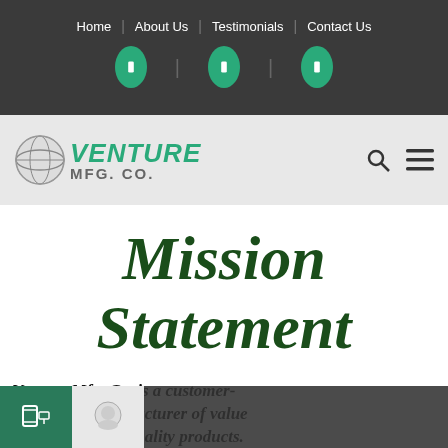Home | About Us | Testimonials | Contact Us
[Figure (logo): Venture Mfg. Co. logo with globe icon and teal/green stylized text on a light gray navigation bar]
Mission Statement
Venture Mfg. Co. is a customer-responsive manufacturer of value added, low cost, quality products.